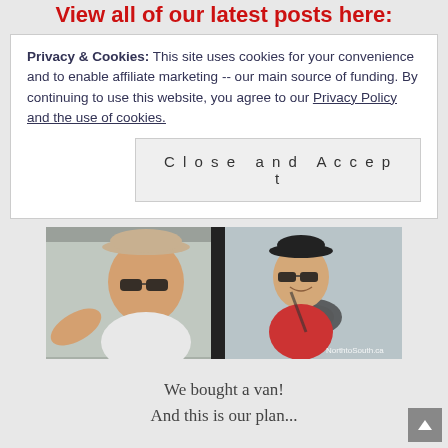View all of our latest posts here:
Privacy & Cookies: This site uses cookies for your convenience and to enable affiliate marketing -- our main source of funding. By continuing to use this website, you agree to our Privacy Policy and the use of cookies.
Close and Accept
[Figure (photo): A smiling man taking a selfie next to a woman in sunglasses who is leaning out of a van window. Watermark reads NorthtoSouth.ca]
We bought a van!
And this is our plan...
Follow our progress on Instagram!